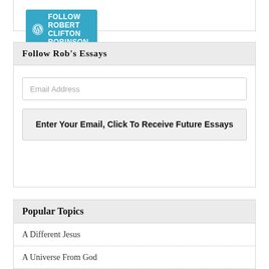[Figure (screenshot): WordPress Follow button widget showing 'Follow Robert Clifton Robinson' in teal/blue with WordPress logo]
Follow Rob's Essays
Email Address
Enter Your Email, Click To Receive Future Essays
Popular Topics
A Different Jesus
A Universe From God
Argument Dialogue
Audio Bible Commentary